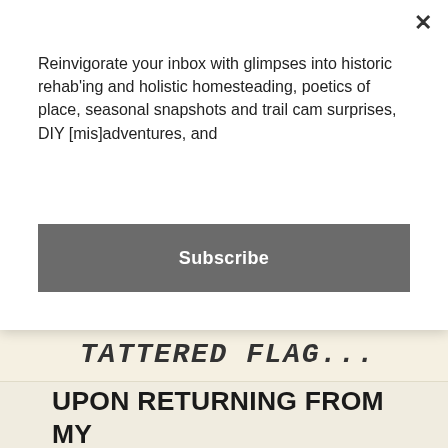Reinvigorate your inbox with glimpses into historic rehab'ing and holistic homesteading, poetics of place, seasonal snapshots and trail cam surprises, DIY [mis]adventures, and
Subscribe
TATTERED FLAG...
Upon returning from my travels I discovered that a concerned passerby had stopped to complain about the tattered American flag flapping over Rosslyn Boathouse. He spoke with Doug, referenced his years of